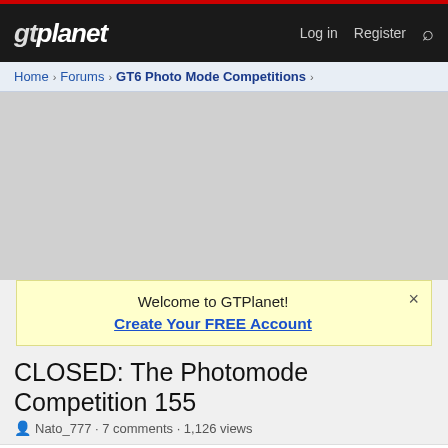gtplanet — Log in  Register
Home > Forums > GT6 Photo Mode Competitions >
[Figure (other): Gray advertisement placeholder area]
Welcome to GTPlanet! Create Your FREE Account
CLOSED: The Photomode Competition 155
Nato_777 · 7 comments · 1,126 views
Nato_777  Moderately Super  Premium